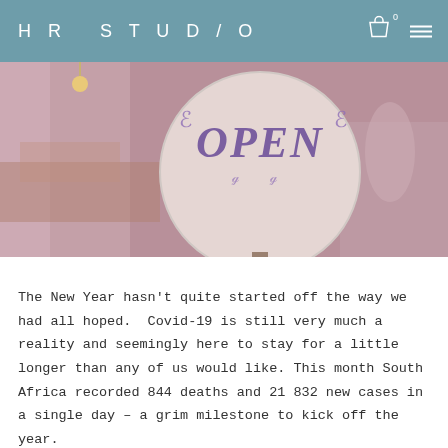HR STUD/O
[Figure (photo): A blurred shop interior background with a round wooden OPEN sign in the foreground, showing decorative purple lettering spelling OPEN]
The New Year hasn't quite started off the way we had all hoped.  Covid-19 is still very much a reality and seemingly here to stay for a little longer than any of us would like. This month South Africa recorded 844 deaths and 21 832 new cases in a single day – a grim milestone to kick off the year.